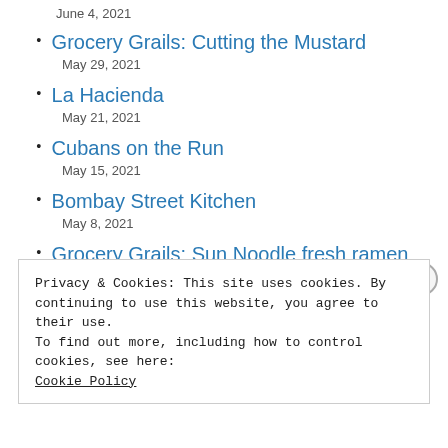June 4, 2021
Grocery Grails: Cutting the Mustard
May 29, 2021
La Hacienda
May 21, 2021
Cubans on the Run
May 15, 2021
Bombay Street Kitchen
May 8, 2021
Grocery Grails: Sun Noodle fresh ramen kits
May 1, 2021
Privacy & Cookies: This site uses cookies. By continuing to use this website, you agree to their use.
To find out more, including how to control cookies, see here:
Cookie Policy
Close and accept